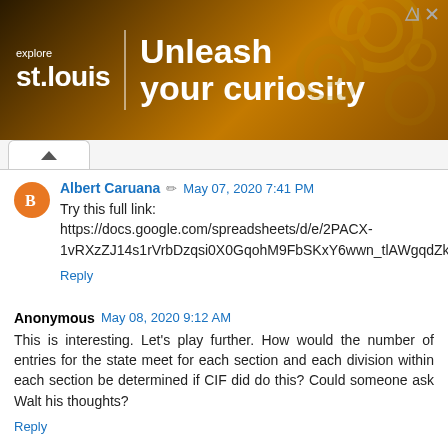[Figure (illustration): Advertisement banner for 'explore st.louis' with tagline 'Unleash your curiosity' over a gear/cog background]
Albert Caruana  May 07, 2020 7:41 PM
Try this full link:
https://docs.google.com/spreadsheets/d/e/2PACX-1vRXzZJ14s1rVrbDzqsi0X0GqohM9FbSKxY6wwn_tlAWgqdZk6uzKya7bv60oBhdbUR7gTtpdfZw4xiQ/pubhtml
Reply
Anonymous  May 08, 2020 9:12 AM
This is interesting. Let's play further. How would the number of entries for the state meet for each section and each division within each section be determined if CIF did do this? Could someone ask Walt his thoughts?
Reply